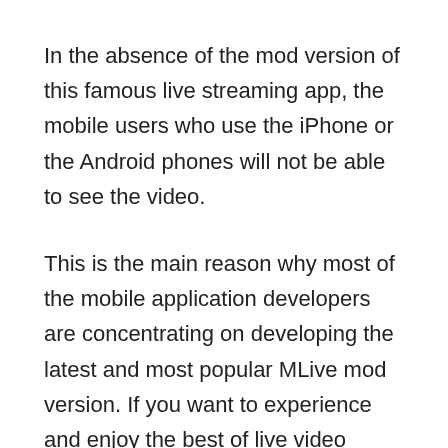In the absence of the mod version of this famous live streaming app, the mobile users who use the iPhone or the Android phones will not be able to see the video.
This is the main reason why most of the mobile application developers are concentrating on developing the latest and most popular MLive mod version. If you want to experience and enjoy the best of live video chatting on your mobile phones, it would be a good idea to download the latest MLive mod version now.